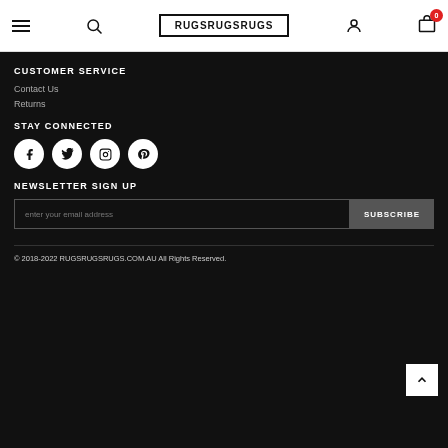RUGSRUGSRUGS
CUSTOMER SERVICE
Contact Us
Returns
STAY CONNECTED
[Figure (other): Social media icons: Facebook, Twitter, Instagram, Pinterest]
NEWSLETTER SIGN UP
enter your email address
SUBSCRIBE
© 2018-2022 RUGSRUGSRUGS.COM.AU All Rights Reserved.